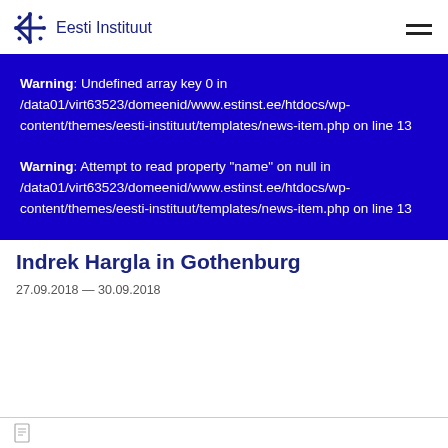Eesti Instituut
Warning: Undefined array key 0 in /data01/virt63523/domeenid/www.estinst.ee/htdocs/wp-content/themes/eesti-instituut/templates/news-item.php on line 13

Warning: Attempt to read property "name" on null in /data01/virt63523/domeenid/www.estinst.ee/htdocs/wp-content/themes/eesti-instituut/templates/news-item.php on line 13
Indrek Hargla in Gothenburg
27.09.2018 — 30.09.2018